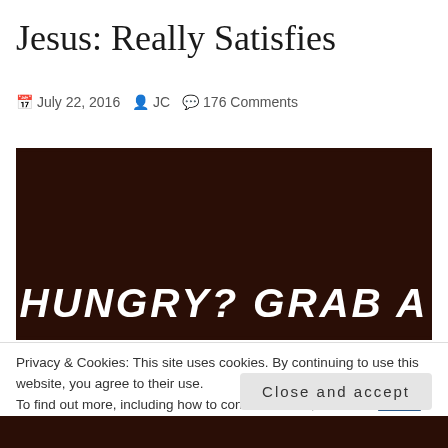Jesus: Really Satisfies
July 22, 2016   JC   176 Comments
[Figure (photo): Dark brown/near-black background image with large bold italic white text reading 'HUNGRY? GRAB A']
Privacy & Cookies: This site uses cookies. By continuing to use this website, you agree to their use.
To find out more, including how to control cookies, see here: Cookie Policy
Close and accept